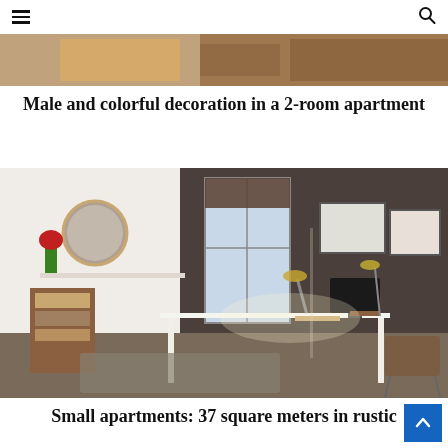≡  🔍
[Figure (photo): Top partial image of a room interior, cropped]
Male and colorful decoration in a 2-room apartment
[Figure (photo): Interior photo of a home office/studio apartment showing a white desk with a laptop, monitors, desk lamps, a round mirror on the wall, shelving unit with books, framed artwork on a shelf against a dark grey wall, wooden chairs]
Small apartments: 37 square meters in rustic